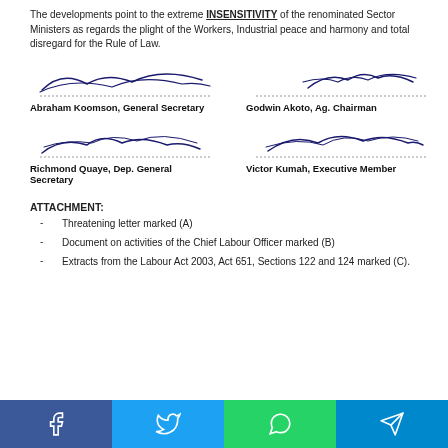The developments point to the extreme INSENSITIVITY of the renominated Sector Ministers as regards the plight of the Workers, Industrial peace and harmony and total disregard for the Rule of Law.
[Figure (illustration): Signature of Abraham Koomson, General Secretary]
[Figure (illustration): Signature of Godwin Akoto, Ag. Chairman]
[Figure (illustration): Signature of Richmond Quaye, Dep. General Secretary]
[Figure (illustration): Signature of Victor Kumah, Executive Member]
ATTACHMENT:
Threatening letter marked (A)
Document on activities of the Chief Labour Officer marked (B)
Extracts from the Labour Act 2003, Act 651, Sections 122 and 124 marked (C).
[Figure (infographic): Social media share buttons: Facebook, Twitter, WhatsApp, Telegram]